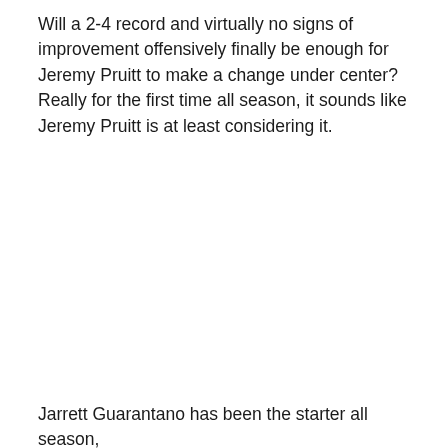Will a 2-4 record and virtually no signs of improvement offensively finally be enough for Jeremy Pruitt to make a change under center? Really for the first time all season, it sounds like Jeremy Pruitt is at least considering it.
Jarrett Guarantano has been the starter all season,